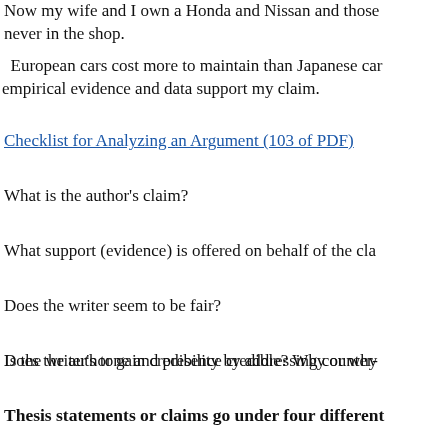Now my wife and I own a Honda and Nissan and those are never in the shop.
European cars cost more to maintain than Japanese cars. empirical evidence and data support my claim.
Checklist for Analyzing an Argument (103 of PDF)
What is the author's claim?
What support (evidence) is offered on behalf of the claim?
Does the writer seem to be fair?
Does the author gain credibility by addressing counter-arguments?
Is the writer's tone and presence credible? Why or why not?
Thesis statements or claims go under four different